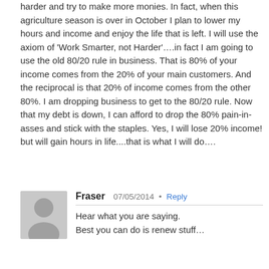harder and try to make more monies. In fact, when this agriculture season is over in October I plan to lower my hours and income and enjoy the life that is left. I will use the axiom of 'Work Smarter, not Harder'….in fact I am going to use the old 80/20 rule in business. That is 80% of your income comes from the 20% of your main customers. And the reciprocal is that 20% of income comes from the other 80%. I am dropping business to get to the 80/20 rule. Now that my debt is down, I can afford to drop the 80% pain-in-asses and stick with the staples. Yes, I will lose 20% income! but will gain hours in life....that is what I will do….
[Figure (illustration): Generic user avatar placeholder image - grey circle silhouette on grey background]
Fraser  07/05/2014 • Reply
Hear what you are saying.
Best you can do is renew staff...